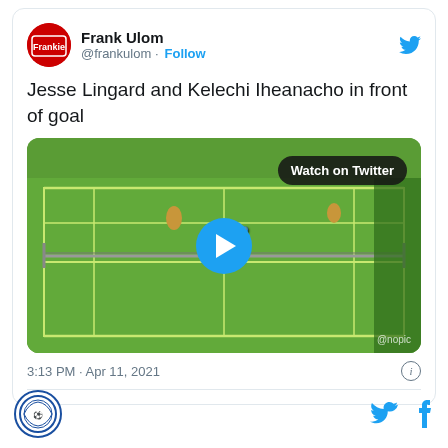Frank Ulom @frankulom · Follow
Jesse Lingard and Kelechi Iheanacho in front of goal
[Figure (screenshot): Video thumbnail showing a tennis court video game screenshot with a play button overlay and 'Watch on Twitter' badge]
3:13 PM · Apr 11, 2021
[Figure (logo): Round blue logo icon at bottom left]
[Figure (logo): Twitter bird icon and Facebook f icon at bottom right]